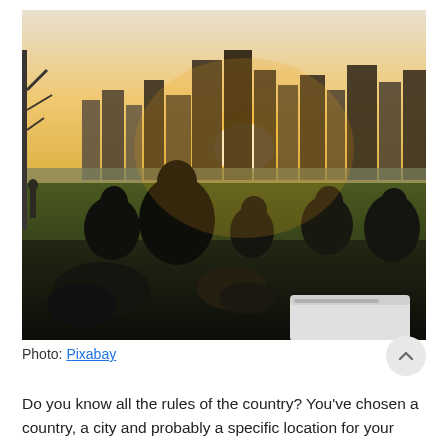[Figure (photo): Group of young people sitting on grass in a park at sunset, with a city skyline in the background including tall skyscrapers. The sun creates a golden glow. A white cooler/box is visible in the foreground right.]
Photo: Pixabay
Do you know all the rules of the country? You've chosen a country, a city and probably a specific location for your